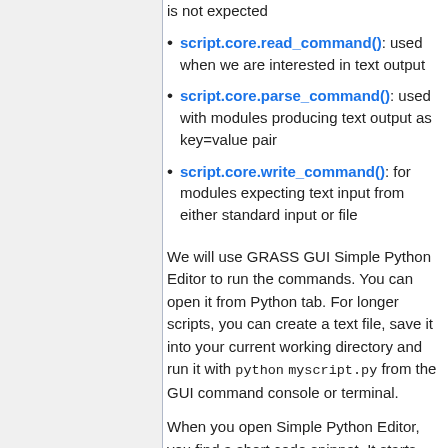is not expected
script.core.read_command(): used when we are interested in text output
script.core.parse_command(): used with modules producing text output as key=value pair
script.core.write_command(): for modules expecting text input from either standard input or file
We will use GRASS GUI Simple Python Editor to run the commands. You can open it from Python tab. For longer scripts, you can create a text file, save it into your current working directory and run it with python myscript.py from the GUI command console or terminal.
When you open Simple Python Editor, you find a short code snippet. It starts